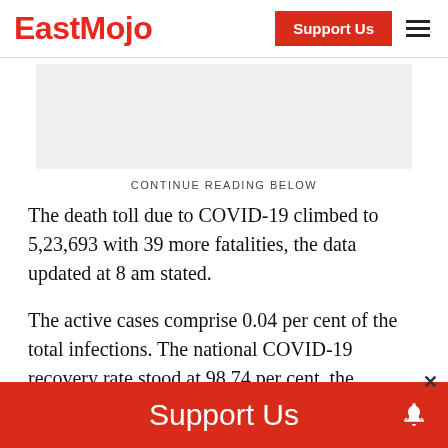EastMojo
[Figure (other): Gray advertisement placeholder banner]
CONTINUE READING BELOW
The death toll due to COVID-19 climbed to 5,23,693 with 39 more fatalities, the data updated at 8 am stated.
The active cases comprise 0.04 per cent of the total infections. The national COVID-19 recovery rate stood at 98.74 per cent, the
Support Us